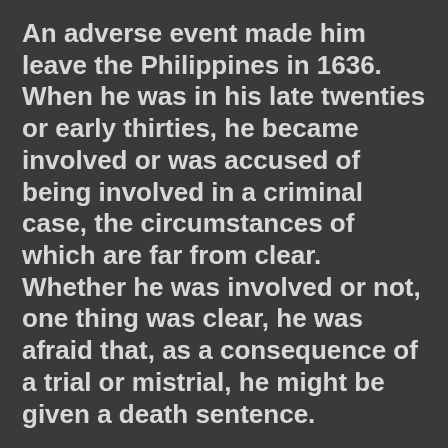An adverse event made him leave the Philippines in 1636. When he was in his late twenties or early thirties, he became involved or was accused of being involved in a criminal case, the circumstances of which are far from clear. Whether he was involved or not, one thing was clear, he was afraid that, as a consequence of a trial or mistrial, he might be given a death sentence.
Upon landing in Japan where Christians were being persecuted, he was arrested and imprisoned together with his companions. He underwent inhuman tortures and valiantly confessed his Christian Faith. Refusing to renounce his